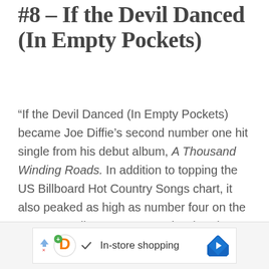#8 – If the Devil Danced (In Empty Pockets)
“If the Devil Danced (In Empty Pockets) became Joe Diffie’s second number one hit single from his debut album, A Thousand Winding Roads. In addition to topping the US Billboard Hot Country Songs chart, it also peaked as high as number four on the RPM Canadian Country Tracks chart in 1991. In a humorous manner, Diffie’s lyrical excuse that all the bad that happens is the devil’s fault and that he shouldn’t be held personally responsible for wrongdoings.
[Figure (other): Advertisement banner with orange D logo, checkmark, and text 'In-store shopping' with a blue navigation arrow icon]